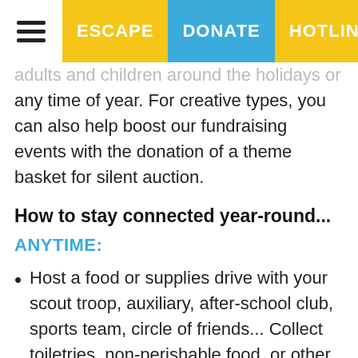ESCAPE | DONATE | HOTLINE | W
adults and children around the holidays or any time of year. For creative types, you can also help boost our fundraising events with the donation of a theme basket for silent auction.
How to stay connected year-round...
ANYTIME:
Host a food or supplies drive with your scout troop, auxiliary, after-school club, sports team, circle of friends... Collect toiletries, non-perishable food, or other items from our wish list (see download link at top of page).